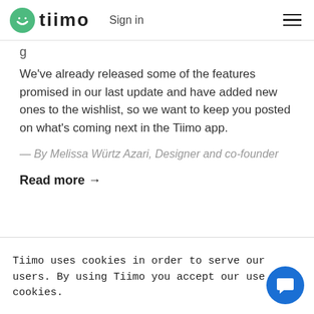tiimo  Sign in
We've already released some of the features promised in our last update and have added new ones to the wishlist, so we want to keep you posted on what's coming next in the Tiimo app.
— By Melissa Würtz Azari, Designer and co-founder
Read more →
Tiimo uses cookies in order to serve our users. By using Tiimo you accept our use of cookies.